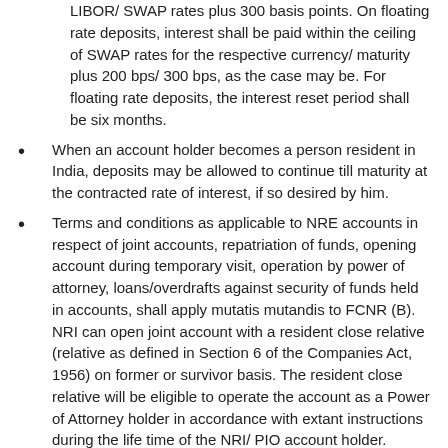LIBOR/ SWAP rates plus 300 basis points. On floating rate deposits, interest shall be paid within the ceiling of SWAP rates for the respective currency/ maturity plus 200 bps/ 300 bps, as the case may be. For floating rate deposits, the interest reset period shall be six months.
When an account holder becomes a person resident in India, deposits may be allowed to continue till maturity at the contracted rate of interest, if so desired by him.
Terms and conditions as applicable to NRE accounts in respect of joint accounts, repatriation of funds, opening account during temporary visit, operation by power of attorney, loans/overdrafts against security of funds held in accounts, shall apply mutatis mutandis to FCNR (B). NRI can open joint account with a resident close relative (relative as defined in Section 6 of the Companies Act, 1956) on former or survivor basis. The resident close relative will be eligible to operate the account as a Power of Attorney holder in accordance with extant instructions during the life time of the NRI/ PIO account holder.
Is the permission of the Reserve Bank required for opening the various accounts, mentioned above, by Bangladesh / Pakistan individuals/entities?
Opening of accounts by individuals/entities of Pakistan and entities of